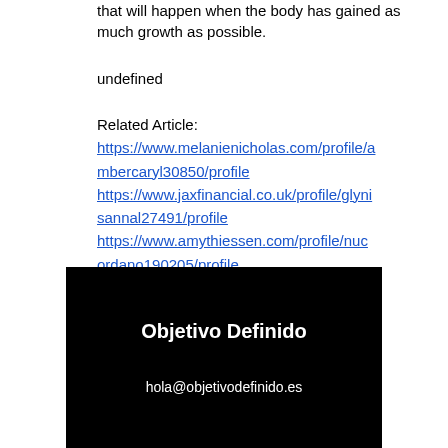that will happen when the body has gained as much growth as possible.
undefined
Related Article:
https://www.melanienicholas.com/profile/ambercaryl30850/profile
https://www.jaxfinancial.co.uk/profile/glynisannal27491/profile
https://www.amythiessen.com/profile/nucordano190205/profile
https://www.sksiseafoods.com/profile/cassandragignac17994/profile
[Figure (other): Black banner with white bold text 'Objetivo Definido' and white email text 'hola@objetivodefinido.es']